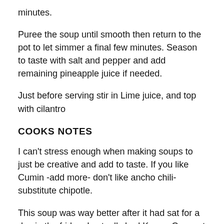minutes.
Puree the soup until smooth then return to the pot to let simmer a final few minutes. Season to taste with salt and pepper and add remaining pineapple juice if needed.
Just before serving stir in Lime juice, and top with cilantro
COOKS NOTES
I can't stress enough when making soups to just be creative and add to taste. If you like Cumin -add more- don't like ancho chili- substitute chipotle.
This soup was way better after it had sat for a day in the fridge. I actually had Krema Coconut yogurt on hand so added a big dollop to the top.